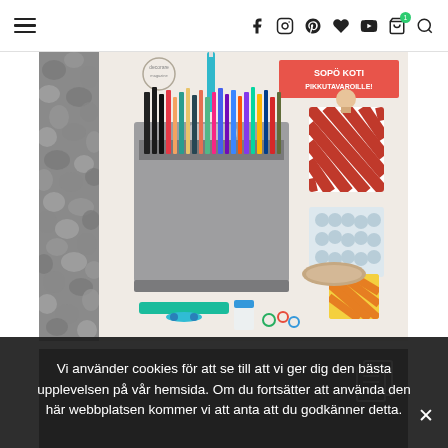Navigation header with hamburger menu and social/action icons
[Figure (photo): Magazine spread showing a grey fabric storage box filled with colorful markers and pens, decorated tins with patterned fabric, and craft supplies including scissors, tape, and small containers on a white surface. Text on magazine reads 'SOPÖ KOTI PIKKUTAVAROILLE!']
[Figure (photo): Partial view of a second image with dark background and a copy/clipboard icon in the upper right corner]
Vi använder cookies för att se till att vi ger dig den bästa upplevelsen på vår hemsida. Om du fortsätter att använda den här webbplatsen kommer vi att anta att du godkänner detta.